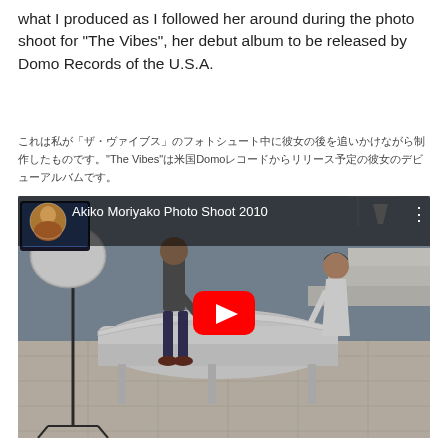what I produced as I followed her around during the photo shoot for “The Vibes”, her debut album to be released by Domo Records of the U.S.A.
これは私が「ザ・ヴァイブス」のフォトシュート中に彼女の後を追いかけながら制作したものです。「The Vibes」は米国Domoレコードからリリース予定の彼女のデビューアルバムです。
[Figure (screenshot): YouTube video embed showing 'Akiko Moriyako Photo Shoot 2010' with a photo shoot scene featuring a white grand piano, a photographer and a woman in white dress, with YouTube play button overlay]